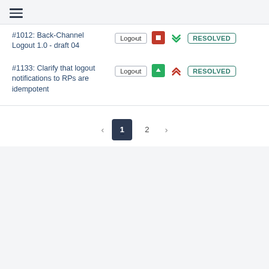[Figure (screenshot): Hamburger menu icon (three horizontal lines)]
#1012: Back-Channel Logout 1.0 - draft 04
#1133: Clarify that logout notifications to RPs are idempotent